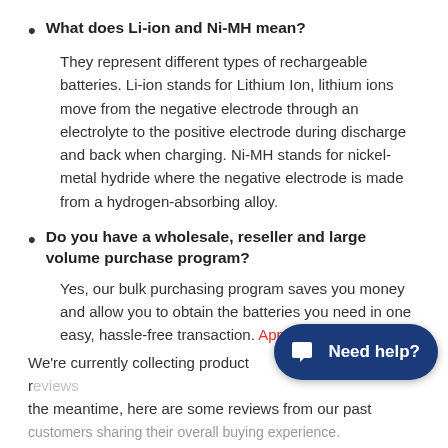What does Li-ion and Ni-MH mean?
They represent different types of rechargeable batteries. Li-ion stands for Lithium Ion, lithium ions move from the negative electrode through an electrolyte to the positive electrode during discharge and back when charging. Ni-MH stands for nickel-metal hydride where the negative electrode is made from a hydrogen-absorbing alloy.
Do you have a wholesale, reseller and large volume purchase program?
Yes, our bulk purchasing program saves you money and allow you to obtain the batteries you need in one easy, hassle-free transaction. Apply here.
We're currently collecting product [reviews]. In the meantime, here are some reviews from our past [customers sharing their overall buying experience].